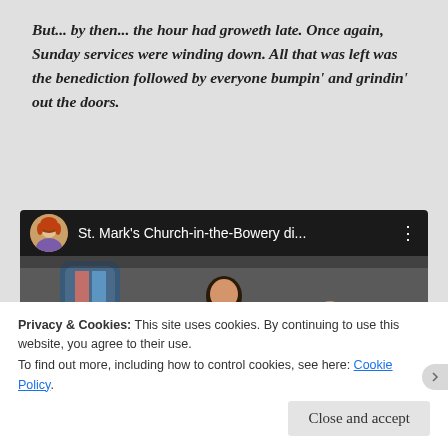But… by then… the hour had groweth late. Once again, Sunday services were winding down. All that was left was the benediction followed by everyone bumpin' and grindin' out the doors.
[Figure (screenshot): YouTube video embed showing St. Mark's Church-in-the-Bowery with avatar of woman in purple top, video title 'St. Mark's Church-in-the-Bowery di...', and thumbnail of a church service with performers.]
Privacy & Cookies: This site uses cookies. By continuing to use this website, you agree to their use.
To find out more, including how to control cookies, see here: Cookie Policy